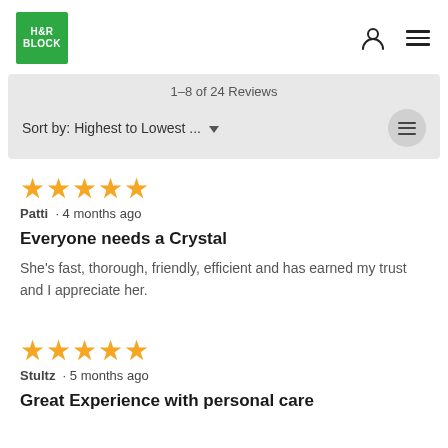[Figure (logo): H&R Block green logo]
1–8 of 24 Reviews
Sort by: Highest to Lowest ...
★★★★★
Patti · 4 months ago
Everyone needs a Crystal
She's fast, thorough, friendly, efficient and has earned my trust and I appreciate her.
★★★★★
Stultz · 5 months ago
Great Experience with personal care